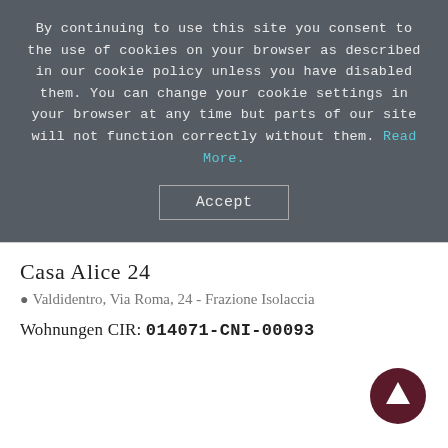By continuing to use this site you consent to the use of cookies on your browser as described in our cookie policy unless you have disabled them. You can change your cookie settings in your browser at any time but parts of our site will not function correctly without them. Read More.
Accept
Casa Alice 24
Valdidentro, Via Roma, 24 - Frazione Isolaccia
Wohnungen CIR: 014071-CNI-00093
[Figure (illustration): Dark maroon circular scroll-to-top button with upward arrow icon, positioned in bottom-right corner]